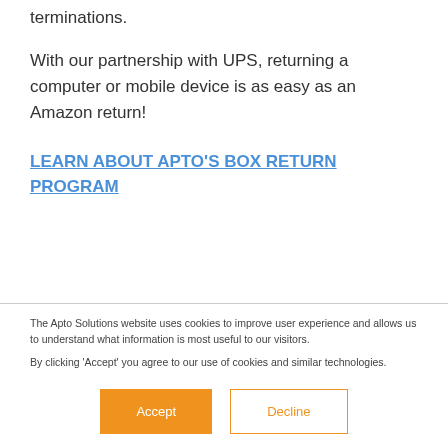terminations.
With our partnership with UPS, returning a computer or mobile device is as easy as an Amazon return!
LEARN ABOUT APTO'S BOX RETURN PROGRAM
The Apto Solutions website uses cookies to improve user experience and allows us to understand what information is most useful to our visitors.

By clicking 'Accept' you agree to our use of cookies and similar technologies.